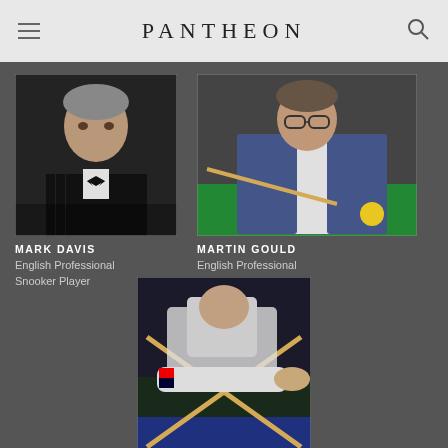PANTHEON
[Figure (photo): Portrait photo of Mark Davis, a snooker player wearing a black vest and bow tie]
MARK DAVIS
English Professional Snooker Player
[Figure (photo): Photo of Martin Gould leaning over a snooker table with a cue, wearing glasses]
MARTIN GOULD
English Professional Snooker Player
[Figure (photo): Photo of Luca Brecel leaning over a snooker table]
LUCA BRECEL
Belgian Professional